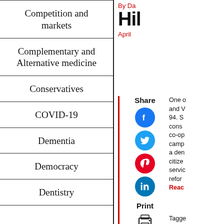Competition and markets
Complementary and Alternative medicine
Conservatives
COVID-19
Dementia
Democracy
Dentistry
By Da
Hil
April
One and V 94. S const co-op camp a dem citize servic refor
Read
Tagge